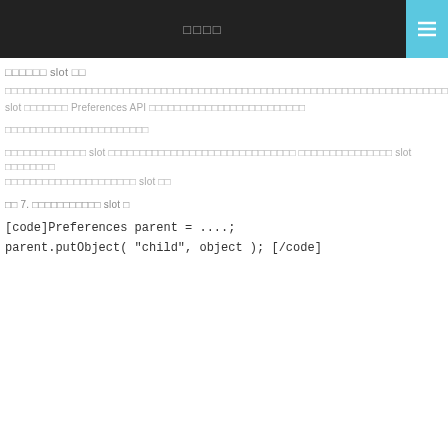□□□□
□□□□□□ slot □□
□□□□□□□□□□□□□□□□□□□□□□□□□□□□□□□□□□□□□□□□□□□□□□□□□□□□□□□□□□□□□□□□□□□□□□□□□□□□□□□□□□□□□□□□□□□ slot □□□□□□□ Preferences API □□□□□□□□□□□□□□□□□□□□□□□□□
□□□□□□□□□□□□□□□□□□□□□□□
□□□□□□□□□□□□□ slot □□□□□□□□□□□□□□□□□□□□□□□□□□□□□□ □□□□□□□□□□□□□□□ slot □□□□□□□□□□□□□□□□□□□□□□□□□□□□□ slot □□
□□ 7. □□□□□□□□□□□ slot □
[code]Preferences parent = ....;
parent.putObject( "child", object ); [/code]